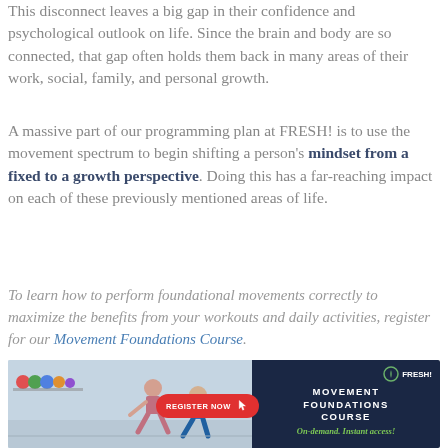This disconnect leaves a big gap in their confidence and psychological outlook on life. Since the brain and body are so connected, that gap often holds them back in many areas of their work, social, family, and personal growth.
A massive part of our programming plan at FRESH! is to use the movement spectrum to begin shifting a person's mindset from a fixed to a growth perspective. Doing this has a far-reaching impact on each of these previously mentioned areas of life.
To learn how to perform foundational movements correctly to maximize the benefits from your workouts and daily activities, register for our Movement Foundations Course.
[Figure (photo): Advertisement banner for Movement Foundations Course by FRESH! showing two people in a gym doing a training exercise with a red 'Register Now' button and green 'On-demand. Instant access!' text on a dark navy background.]